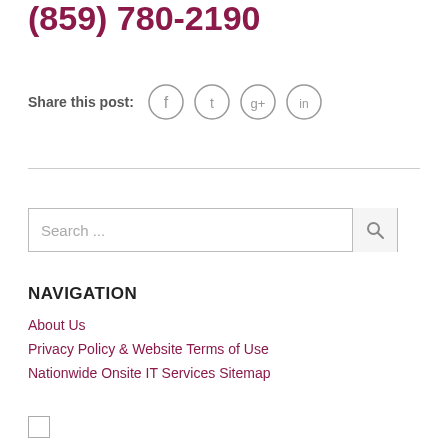(859) 780-2190
Share this post:
[Figure (other): Social media share icons: Facebook, Twitter, Google+, LinkedIn — each as a circle outline with icon inside]
[Figure (other): Search box with text 'Search ...' and magnifying glass icon]
NAVIGATION
About Us
Privacy Policy & Website Terms of Use
Nationwide Onsite IT Services Sitemap
[Figure (photo): Small broken/placeholder image icon in bottom left]